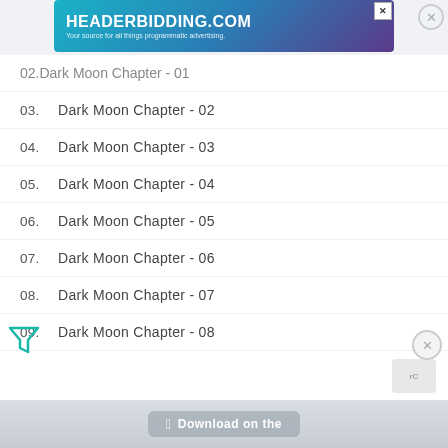[Figure (screenshot): Advertisement banner for HEADERBIDDING.COM - 'Your source for all things programmatic advertising.']
02.    Dark Moon Chapter - 01
03.    Dark Moon Chapter - 02
04.    Dark Moon Chapter - 03
05.    Dark Moon Chapter - 04
06.    Dark Moon Chapter - 05
07.    Dark Moon Chapter - 06
08.    Dark Moon Chapter - 07
09.    Dark Moon Chapter - 08